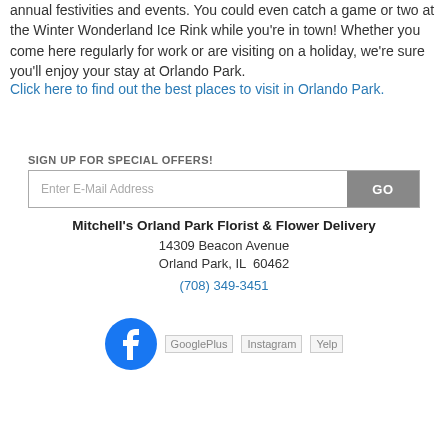annual festivities and events. You could even catch a game or two at the Winter Wonderland Ice Rink while you're in town! Whether you come here regularly for work or are visiting on a holiday, we're sure you'll enjoy your stay at Orlando Park.
Click here to find out the best places to visit in Orlando Park.
SIGN UP FOR SPECIAL OFFERS!
Enter E-Mail Address  GO
Mitchell's Orland Park Florist & Flower Delivery
14309 Beacon Avenue
Orland Park, IL  60462
(708) 349-3451
[Figure (logo): Facebook logo icon (blue circle with white 'f'), followed by placeholder images for GooglePlus, Instagram, and Yelp social media icons]